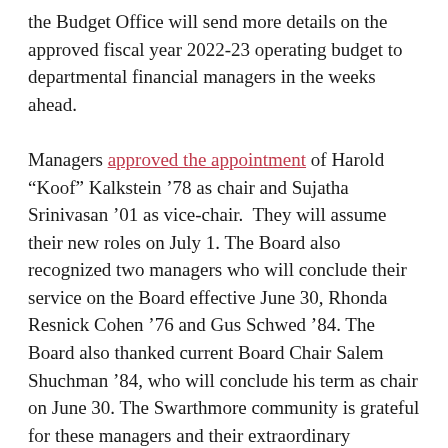the Budget Office will send more details on the approved fiscal year 2022-23 operating budget to departmental financial managers in the weeks ahead.
Managers approved the appointment of Harold “Koof” Kalkstein ’78 as chair and Sujatha Srinivasan ’01 as vice-chair. They will assume their new roles on July 1. The Board also recognized two managers who will conclude their service on the Board effective June 30, Rhonda Resnick Cohen ’76 and Gus Schwed ’84. The Board also thanked current Board Chair Salem Shuchman ’84, who will conclude his term as chair on June 30. The Swarthmore community is grateful for these managers and their extraordinary commitment to and stewardship of the College. The Board also approved two new managers, whose names will be announced later this year.